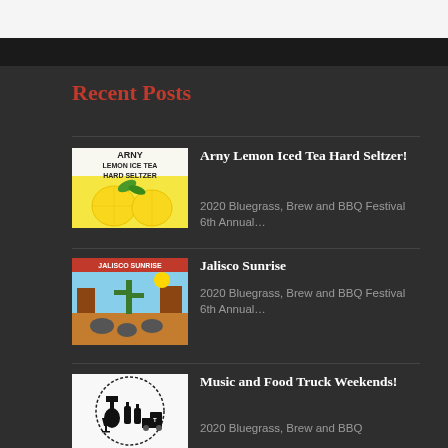Recent Posts
[Figure (photo): Arny Lemon Ice Tea Hard Seltzer product image with lemons]
Arny Lemon Iced Tea Hard Seltzer!
2020 Bluegrass, Brew and BBQ Festival 6th Annual…
[Figure (photo): Jalisco Sunrise album/product art with desert cactus scene]
Jalisco Sunrise
2020 Bluegrass, Brew and BBQ Festival 6th Annual…
[Figure (photo): Music and Food Truck Weekends logo with guitar, bottles, truck]
Music and Food Truck Weekends!
2020 Bluegrass, Brew and BBQ